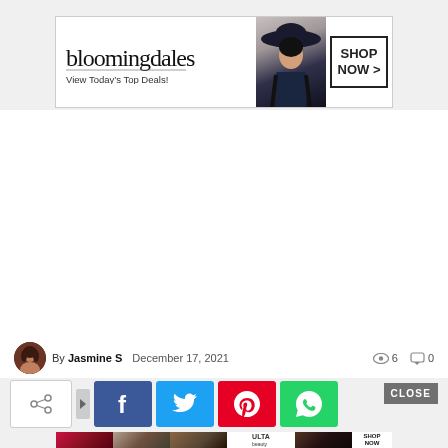[Figure (screenshot): Bloomingdales advertisement banner with model in hat. Text: bloomingdales, View Today's Top Deals!, SHOP NOW >]
By Jasmine S  December 17, 2021   6  0
[Figure (screenshot): Social share bar with share icon, Facebook, Twitter, Pinterest, and WhatsApp buttons. CLOSE button on right.]
[Figure (screenshot): Ulta Beauty advertisement banner at bottom with makeup/beauty imagery. SHOP NOW.]